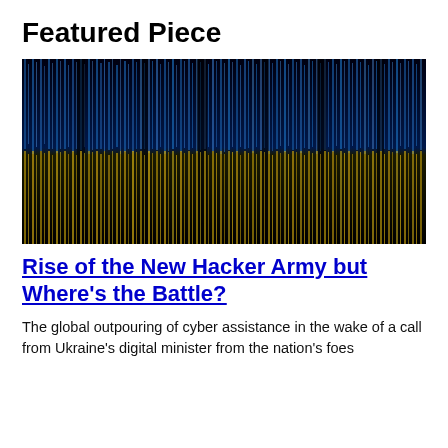Featured Piece
[Figure (illustration): Digital matrix rain artwork styled as the Ukrainian flag — upper portion in blue tones and lower portion in yellow/gold tones, made of falling vertical streams of glowing characters on a black background.]
Rise of the New Hacker Army but Where's the Battle?
The global outpouring of cyber assistance in the wake of a call from Ukraine's digital minister from the nation's foes